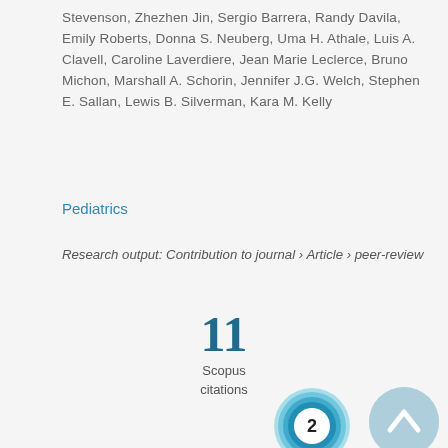Stevenson, Zhezhen Jin, Sergio Barrera, Randy Davila, Emily Roberts, Donna S. Neuberg, Uma H. Athale, Luis A. Clavell, Caroline Laverdiere, Jean Marie Leclerce, Bruno Michon, Marshall A. Schorin, Jennifer J.G. Welch, Stephen E. Sallan, Lewis B. Silverman, Kara M. Kelly
Pediatrics
Research output: Contribution to journal › Article › peer-review
11
Scopus
citations
[Figure (other): Donut/ring chart with number 2 in center, teal/blue gradient rings]
[Figure (other): Circular scroll-to-top button with upward chevron, light blue/grey]